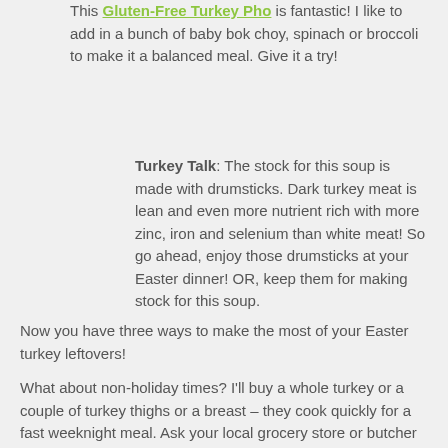This Gluten-Free Turkey Pho is fantastic! I like to add in a bunch of baby bok choy, spinach or broccoli to make it a balanced meal. Give it a try!
Turkey Talk: The stock for this soup is made with drumsticks. Dark turkey meat is lean and even more nutrient rich with more zinc, iron and selenium than white meat! So go ahead, enjoy those drumsticks at your Easter dinner! OR, keep them for making stock for this soup.
Now you have three ways to make the most of your Easter turkey leftovers!
What about non-holiday times? I'll buy a whole turkey or a couple of turkey thighs or a breast – they cook quickly for a fast weeknight meal. Ask your local grocery store or butcher about available turkey cuts.